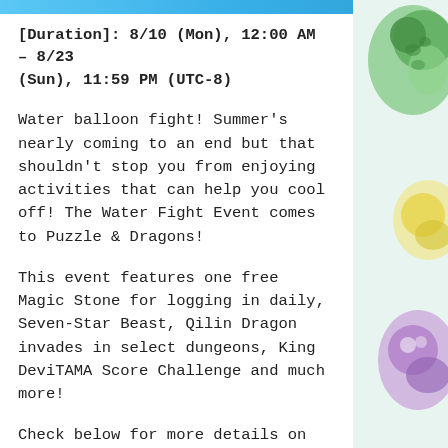[Figure (illustration): Top banner with blue/teal gradient strip across the top of the page, and right side decorative image area showing game character artwork (dragon/creature imagery in green, yellow, purple tones)]
[Duration]: 8/10 (Mon), 12:00 AM – 8/23 (Sun), 11:59 PM (UTC-8)
Water balloon fight! Summer's nearly coming to an end but that shouldn't stop you from enjoying activities that can help you cool off! The Water Fight Event comes to Puzzle & Dragons!
This event features one free Magic Stone for logging in daily, Seven-Star Beast, Qilin Dragon invades in select dungeons, King DeviTAMA Score Challenge and much more!
Check below for more details on everything this event has to offer!